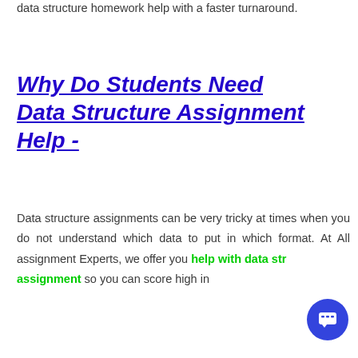data structure homework help with a faster turnaround.
Why Do Students Need Data Structure Assignment Help -
Data structure assignments can be very tricky at times when you do not understand which data to put in which format. At All assignment Experts, we offer you help with data structure assignment so you can score high in